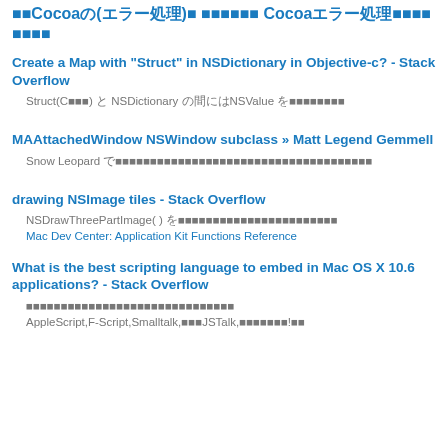■■Cocoaの(エラー処理) ■■■■■■■ Cocoaエラー処理■■■■
Create a Map with "Struct" in NSDictionary in Objective-c? - Stack Overflow
Struct(Cの構造体) と NSDictionary の間にはNSValue を使って格納する
MAAttachedWindow NSWindow subclass » Matt Legend Gemmell
Snow Leopard で動かすためのパッチがコメント欄にあるので参考にするとよい
drawing NSImage tiles - Stack Overflow
NSDrawThreePartImage( ) を使ってタイル状に並んだ画像を描画する関数
Mac Dev Center: Application Kit Functions Reference
What is the best scripting language to embed in Mac OS X 10.6 applications? - Stack Overflow
スクリプト言語をアプリケーションに組み込む方法の比較
AppleScript,F-Script,Smalltalk,などJSTalk,などを使う方法!など